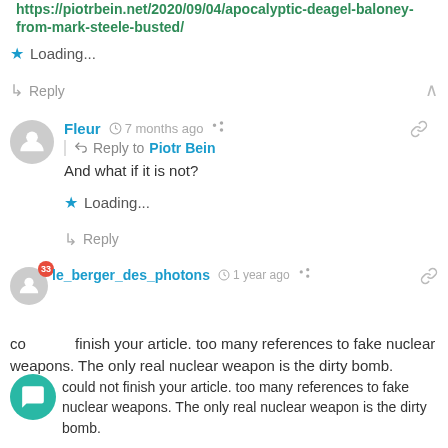https://piotrbein.net/2020/09/04/apocalyptic-deagel-baloney-from-mark-steele-busted/
★ Loading...
↳ Reply
[Figure (illustration): User avatar icon (grey circle with person silhouette)]
Fleur  🕐 7 months ago  Reply to Piotr Bein  And what if it is not?
★ Loading...
↳ Reply
[Figure (illustration): User avatar icon (grey circle with person silhouette), smaller]
le_berger_des_photons  🕐 1 year ago  could not finish your article. too many references to fake nuclear weapons. The only real nuclear weapon is the dirty bomb.